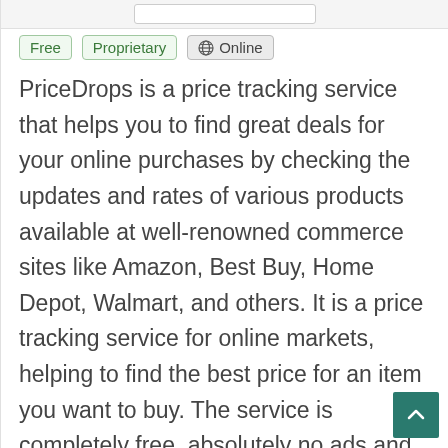[Figure (screenshot): Top bar with a white input box on grey background]
Free   Proprietary   🌐 Online
PriceDrops is a price tracking service that helps you to find great deals for your online purchases by checking the updates and rates of various products available at well-renowned commerce sites like Amazon, Best Buy, Home Depot, Walmart, and others. It is a price tracking service for online markets, helping to find the best price for an item you want to buy. The service is completely free, absolutely no ads and no payment needed according to the best of consumers' comfort.